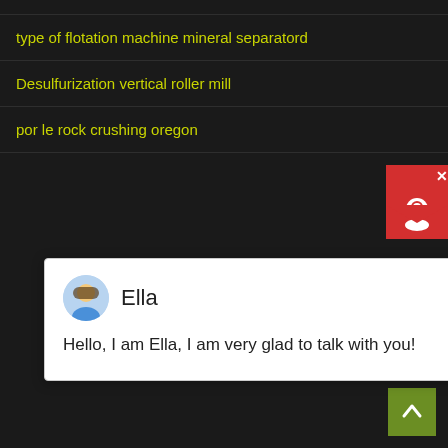type of flotation machine mineral separatord
Desulfurization vertical roller mill
por le rock crushing oregon
[Figure (screenshot): Chat popup with avatar of Ella, text: Hello, I am Ella, I am very glad to talk with you!]
secont hand mobile jowa crusher stone
ball mill for limestone manufacturers india
daftar harga jaw crusher mini
Used Raymond Grinding Mill Sale Offer In Pakistan